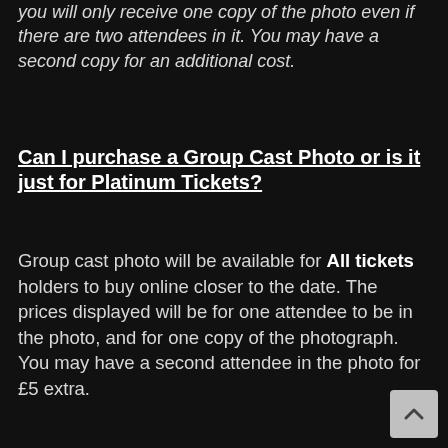you will only receive one copy of the photo even if there are two attendees in it. You may have a second copy for an additional cost.
Can I purchase a Group Cast Photo or is it just for Platinum Tickets?
Group cast photo will be available for All tickets holders to buy online closer to the date. The prices displayed will be for one attendee to be in the photo, and for one copy of the photograph. You may have a second attendee in the photo for £5 extra.